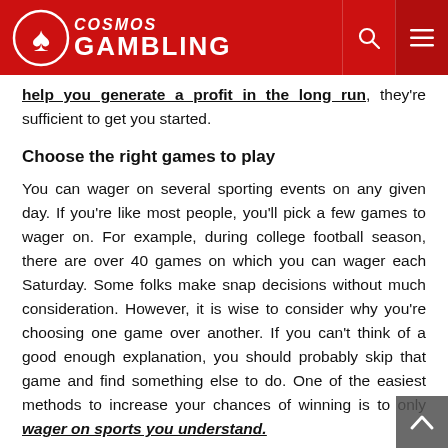Cosmos Gambling
help you generate a profit in the long run, they're sufficient to get you started.
Choose the right games to play
You can wager on several sporting events on any given day. If you're like most people, you'll pick a few games to wager on. For example, during college football season, there are over 40 games on which you can wager each Saturday. Some folks make snap decisions without much consideration. However, it is wise to consider why you're choosing one game over another. If you can't think of a good enough explanation, you should probably skip that game and find something else to do. One of the easiest methods to increase your chances of winning is to only wager on sports you understand.
Stick to a budget
While it's okay to gamble with the extra money you may have, it's not appropriate to gamble with the money required for other purposes. This is when gaming can quickly go out of hand, with dis...